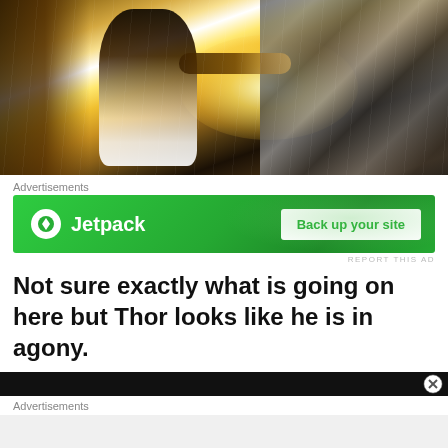[Figure (photo): Movie still showing Thor in apparent agony, arms outstretched, surrounded by bright light and mechanical/industrial elements. Dramatic action scene with golden/white lighting.]
Advertisements
[Figure (other): Jetpack advertisement banner with green background, Jetpack logo on left, and 'Back up your site' white button on right.]
REPORT THIS AD
Not sure exactly what is going on here but Thor looks like he is in agony.
[Figure (screenshot): Dark movie still, bottom portion of another image, partially visible.]
Advertisements
REPORT THIS AD